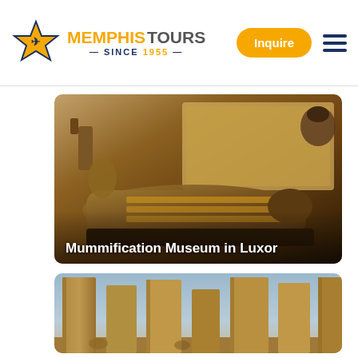[Figure (logo): Memphis Tours logo with star icon, text 'MEMPHIS TOURS — SINCE 1955 —' in orange and dark blue]
[Figure (photo): Photo of a mummy and Egyptian artifacts displayed in the Mummification Museum in Luxor]
Mummification Museum in Luxor
[Figure (photo): Photo of large stone columns at an ancient Egyptian temple, likely Karnak Temple in Luxor]